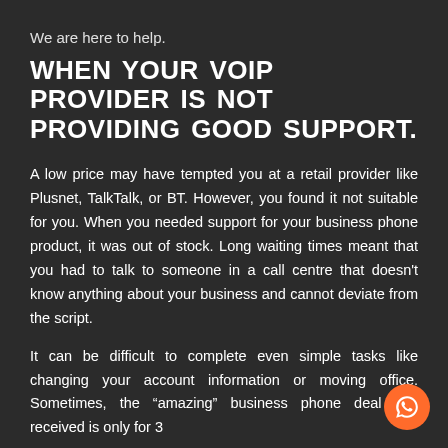We are here to help.
WHEN YOUR VOIP PROVIDER IS NOT PROVIDING GOOD SUPPORT.
A low price may have tempted you at a retail provider like Plusnet, TalkTalk, or BT. However, you found it not suitable for you. When you needed support for your business phone product, it was out of stock. Long waiting times meant that you had to talk to someone in a call centre that doesn't know anything about your business and cannot deviate from the script.
It can be difficult to complete even simple tasks like changing your account information or moving office. Sometimes, the “amazing” business phone deal you received is only for 3